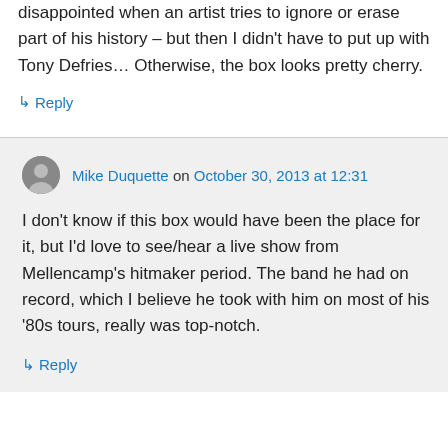disappointed when an artist tries to ignore or erase part of his history – but then I didn't have to put up with Tony Defries… Otherwise, the box looks pretty cherry.
↳ Reply
Mike Duquette on October 30, 2013 at 12:31
I don't know if this box would have been the place for it, but I'd love to see/hear a live show from Mellencamp's hitmaker period. The band he had on record, which I believe he took with him on most of his '80s tours, really was top-notch.
↳ Reply